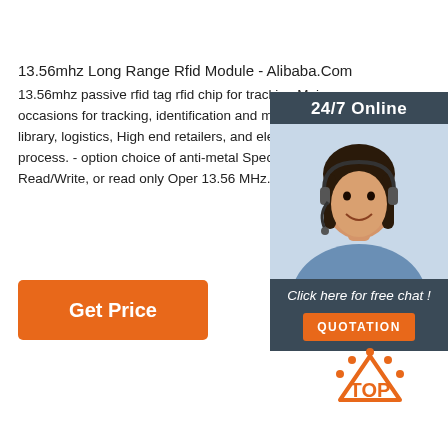13.56mhz Long Range Rfid Module - Alibaba.Com
13.56mhz passive rfid tag rfid chip for tracking Main occasions for tracking, identification and management used in library, logistics, High end retailers, and electronics manufacturing process. - option choice of anti-metal Specifications: Type: Read/Write, or read only Operating Frequency: 13.56 MHz.
[Figure (photo): Customer service representative woman with headset smiling, overlaid with '24/7 Online' header, 'Click here for free chat!' text, and an orange QUOTATION button on a dark blue-grey panel]
Get Price
[Figure (logo): Orange 'TOP' logo with dotted arc above the word TOP in orange on white background]